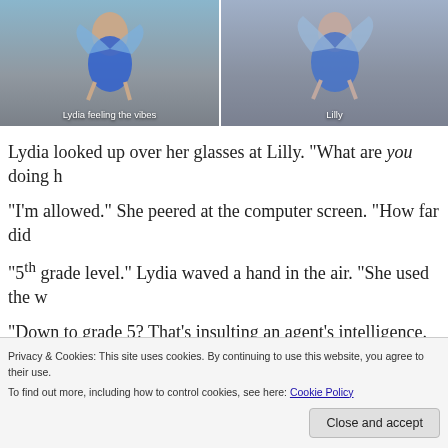[Figure (illustration): Two fairy illustrations side by side. Left: fairy in blue dress labeled 'Lydia feeling the vibes'. Right: fairy in blue dress labeled 'Lilly'.]
Lydia feeling the vibes
Lilly
Lydia looked up over her glasses at Lilly. “What are you doing h
“I’m allowed.” She peered at the computer screen. “How far did
“5th grade level.” Lydia waved a hand in the air. “She used the w
“Down to grade 5? That’s insulting an agent’s intelligence.  It’ll
Privacy & Cookies: This site uses cookies. By continuing to use this website, you agree to their use.
To find out more, including how to control cookies, see here: Cookie Policy